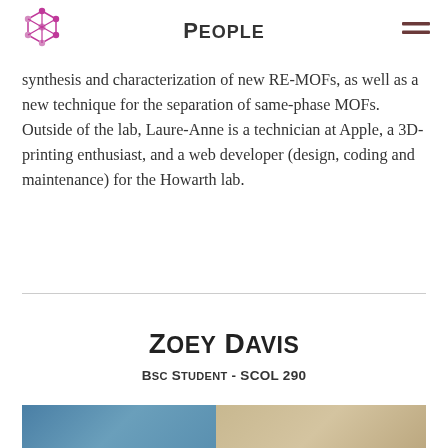People
synthesis and characterization of new RE-MOFs, as well as a new technique for the separation of same-phase MOFs. Outside of the lab, Laure-Anne is a technician at Apple, a 3D-printing enthusiast, and a web developer (design, coding and maintenance) for the Howarth lab.
Zoey Davis
BSc Student - SCOL 290
[Figure (photo): Partial photo of Zoey Davis, showing a landscape with blue sky/water on the left and sandy/rocky terrain on the right]